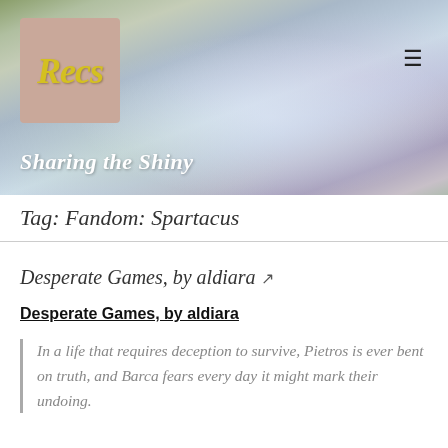[Figure (illustration): Website header banner with impressionist-style painting background (water lily pond), a fairy/pixie logo on a mauve box reading 'Recs' in yellow italic script, and a hamburger menu icon on the right]
Sharing the Shiny
Tag: Fandom: Spartacus
Desperate Games, by aldiara ↗
Desperate Games, by aldiara
In a life that requires deception to survive, Pietros is ever bent on truth, and Barca fears every day it might mark their undoing.